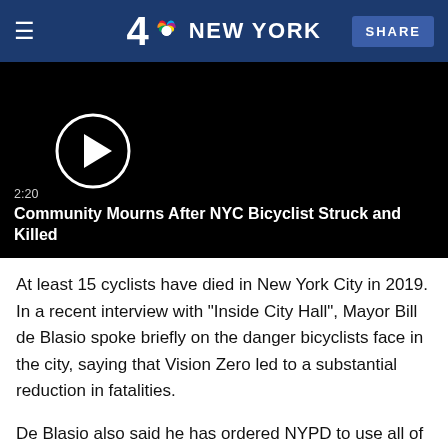4 NBC NEW YORK | SHARE
[Figure (screenshot): Video thumbnail with black background, play button circle on left, showing duration 2:20 and title 'Community Mourns After NYC Bicyclist Struck and Killed']
2:20
Community Mourns After NYC Bicyclist Struck and Killed
At least 15 cyclists have died in New York City in 2019. In a recent interview with "Inside City Hall", Mayor Bill de Blasio spoke briefly on the danger bicyclists face in the city, saying that Vision Zero led to a substantial reduction in fatalities.
De Blasio also said he has ordered NYPD to use all of its tools to clear out bike lanes and continue aggressive enforcement on speeding and failure to yield.